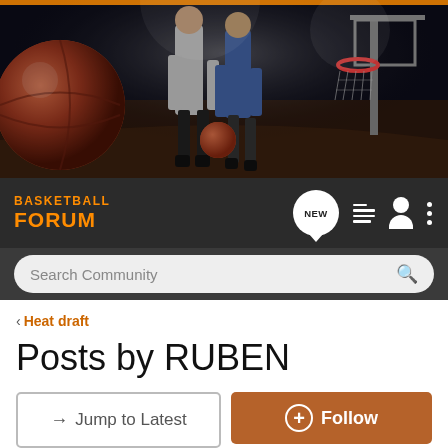[Figure (photo): Basketball forum banner with basketball, players dribbling and basketball hoop in dark arena]
BASKETBALL FORUM
Search Community
< Heat draft
Posts by RUBEN
→ Jump to Latest
+ Follow
1 - 1 of 1 Posts
RUBEN · Registered
Joined Jun 9, 2002 · 231 Posts